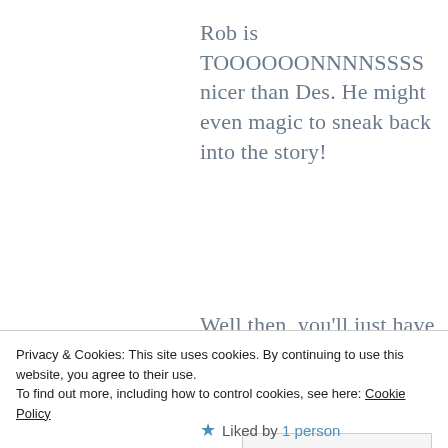Rob is TOOOOOONNNNSSSS nicer than Des. He might even magic to sneak back into the story!
Well then, you'll just have to be aware that some
Privacy & Cookies: This site uses cookies. By continuing to use this website, you agree to their use.
To find out more, including how to control cookies, see here: Cookie Policy
Close and accept
Liked by 1 person